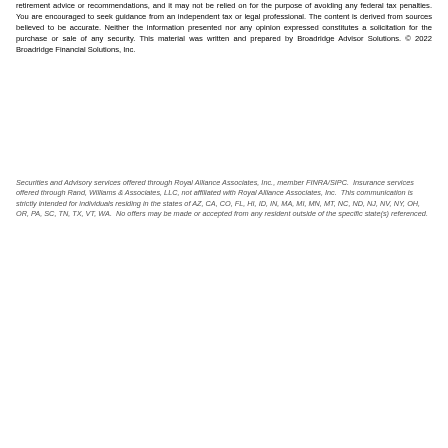retirement advice or recommendations, and it may not be relied on for the purpose of avoiding any federal tax penalties. You are encouraged to seek guidance from an independent tax or legal professional. The content is derived from sources believed to be accurate. Neither the information presented nor any opinion expressed constitutes a solicitation for the purchase or sale of any security. This material was written and prepared by Broadridge Advisor Solutions. © 2022 Broadridge Financial Solutions, Inc.
Securities and Advisory services offered through Royal Alliance Associates, Inc., member FINRA/SIPC. Insurance services offered through Rand, Williams & Associates, LLC, not affiliated with Royal Alliance Associates, Inc. This communication is strictly intended for individuals residing in the states of AZ, CA, CO, FL, HI, ID, IN, MA, MI, MN, MT, NC, ND, NJ, NV, NY, OH, OR, PA, SC, TN, TX, VT, WA. No offers may be made or accepted from any resident outside of the specific state(s) referenced.